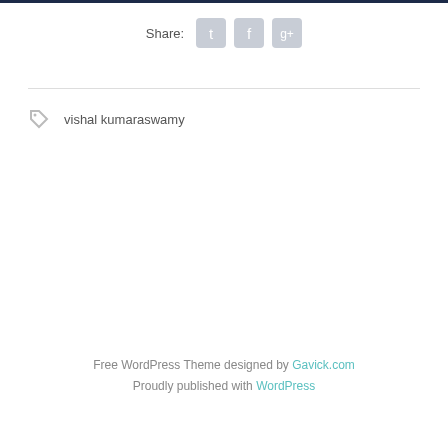Share:
[Figure (infographic): Social share icons: Twitter, Facebook, Google+]
vishal kumaraswamy
Free WordPress Theme designed by Gavick.com
Proudly published with WordPress